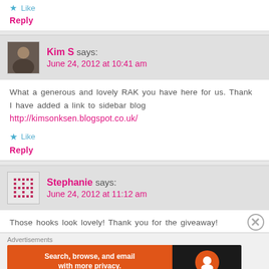Like
Reply
Kim S says: June 24, 2012 at 10:41 am
What a generous and lovely RAK you have here for us. Thank I have added a link to sidebar blog http://kimsonksen.blogspot.co.uk/
Like
Reply
Stephanie says: June 24, 2012 at 11:12 am
Those hooks look lovely! Thank you for the giveaway!
[Figure (screenshot): DuckDuckGo advertisement banner: orange background with text 'Search, browse, and email with more privacy. All in One Free App' and DuckDuckGo logo on dark background]